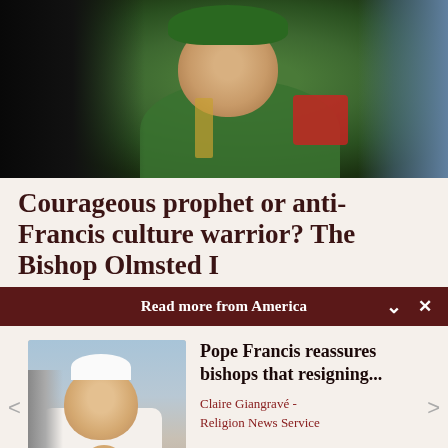[Figure (photo): Elderly priest in green vestments and green bishop's hat, wearing glasses, photographed among a crowd. Dark background on left, blue-toned figure on right.]
Courageous prophet or anti-Francis culture warrior? The Bishop Olmsted I
Read more from America
[Figure (photo): Pope Francis in white papal vestments and zucchetto, smiling and waving among a crowd with colorful background.]
Pope Francis reassures bishops that resigning...
Claire Giangravé - Religion News Service